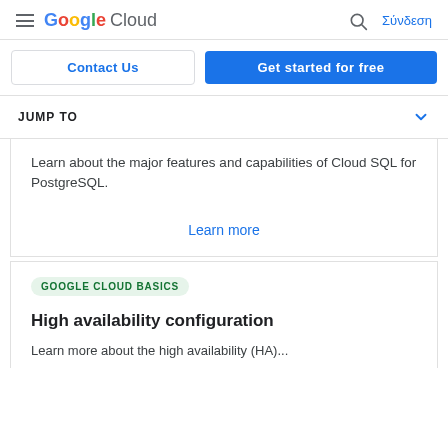Google Cloud — Σύνδεση
Contact Us
Get started for free
JUMP TO
Learn about the major features and capabilities of Cloud SQL for PostgreSQL.
Learn more
GOOGLE CLOUD BASICS
High availability configuration
Learn more about the high availability (HA)...